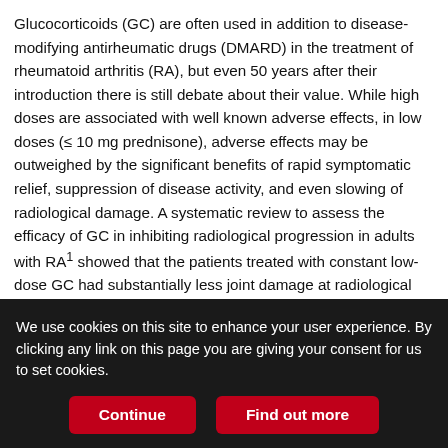Glucocorticoids (GC) are often used in addition to disease-modifying antirheumatic drugs (DMARD) in the treatment of rheumatoid arthritis (RA), but even 50 years after their introduction there is still debate about their value. While high doses are associated with well known adverse effects, in low doses (≤ 10 mg prednisone), adverse effects may be outweighed by the significant benefits of rapid symptomatic relief, suppression of disease activity, and even slowing of radiological damage. A systematic review to assess the efficacy of GC in inhibiting radiological progression in adults with RA¹ showed that the patients treated with constant low-dose GC had substantially less joint damage at radiological followup at 1 and 2 years. This has renewed the debate on the risk/benefit ratio of low-dose GC treatment. Safety data from randomized controlled clinical trials of
We use cookies on this site to enhance your user experience. By clicking any link on this page you are giving your consent for us to set cookies.